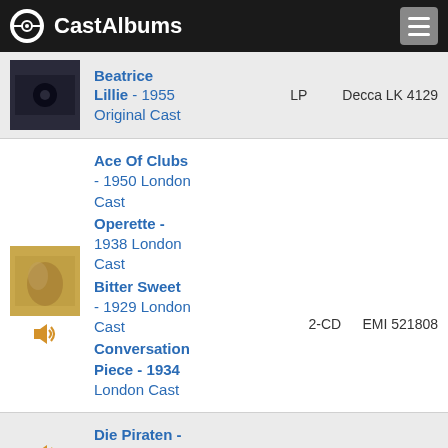CastAlbums
Beatrice Lillie - 1955 Original Cast | LP | Decca LK 4129
Ace Of Clubs - 1950 London Cast | Operette - 1938 London Cast | Bitter Sweet - 1929 London Cast | Conversation Piece - 1934 London Cast | 2-CD | EMI 521808
Die Piraten - 1968 Radio Cast | 2-CD | Gala GL 100.566